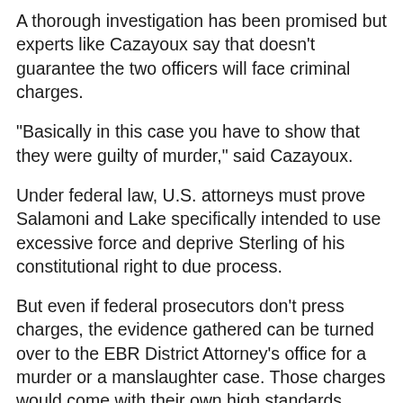A thorough investigation has been promised but experts like Cazayoux say that doesn't guarantee the two officers will face criminal charges.
"Basically in this case you have to show that they were guilty of murder," said Cazayoux.
Under federal law, U.S. attorneys must prove Salamoni and Lake specifically intended to use excessive force and deprive Sterling of his constitutional right to due process.
But even if federal prosecutors don't press charges, the evidence gathered can be turned over to the EBR District Attorney's office for a murder or a manslaughter case. Those charges would come with their own high standards because the defendants would be police officers.
Before shooting, Salamoni and Lake fought to subdue Sterling when one of them shouted "Gun!" and the other drew his weapon.
Under state law, prosecutors must prove the two officers